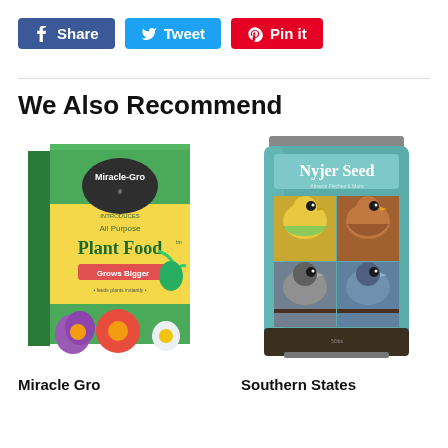[Figure (screenshot): Social media share buttons: Facebook Share, Tweet, Pin it]
We Also Recommend
[Figure (photo): Miracle-Gro All Purpose Plant Food box]
[Figure (photo): Nyjer Seed bag with bird images]
Miracle Gro
Southern States